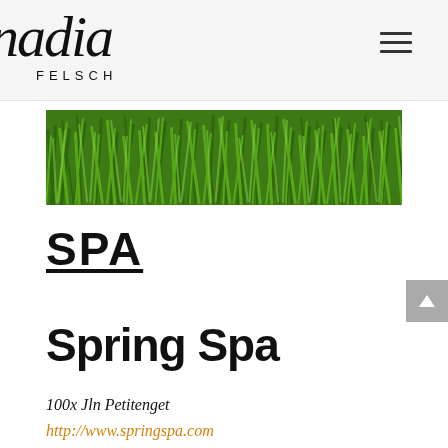nadia FELSCH
[Figure (photo): Wide panoramic photo of green grass blades close-up, lush vibrant green color]
SPA
Spring Spa
100x Jln Petitenget
http://www.springspa.com